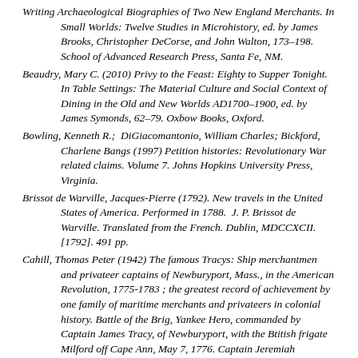Writing Archaeological Biographies of Two New England Merchants. In Small Worlds: Twelve Studies in Microhistory, ed. by James Brooks, Christopher DeCorse, and John Walton, 173–198. School of Advanced Research Press, Santa Fe, NM.
Beaudry, Mary C. (2010) Privy to the Feast: Eighty to Supper Tonight. In Table Settings: The Material Culture and Social Context of Dining in the Old and New Worlds AD1700–1900, ed. by James Symonds, 62–79. Oxbow Books, Oxford.
Bowling, Kenneth R.;  DiGiacomantonio, William Charles;  Bickford, Charlene Bangs (1997) Petition histories: Revolutionary War related claims. Volume 7. Johns Hopkins University Press, Virginia.
Brissot de Warville, Jacques-Pierre (1792). New travels in the United States of America. Performed in 1788.  J. P. Brissot de Warville. Translated from the French. Dublin, MDCCXCII. [1792]. 491 pp.
Cahill, Thomas Peter (1942) The famous Tracys: Ship merchantmen and privateer captains of Newburyport, Mass., in the American Revolution, 1775-1783 ; the greatest record of achievement by one family of maritime merchants and privateers in colonial history. Battle of the Brig, Yankee Hero, commanded by Captain James Tracy, of Newburyport, with the Btitish frigate Milford off Cape Ann, May 7, 1776. Captain Jeremiah O'Brien's Memorial Associates,